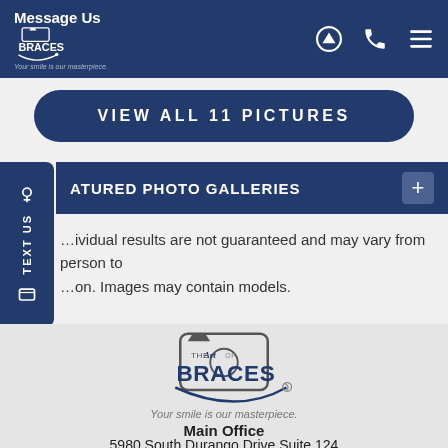Message Us — Art of Braces header with navigation icons
VIEW ALL 11 PICTURES
FEATURED PHOTO GALLERIES
Individual results are not guaranteed and may vary from person to person. Images may contain models.
[Figure (logo): The Art of Braces logo with camera icon and smile curve, tagline: Your smile is our masterpiece.]
Main Office
5980 South Durango Drive Suite 124